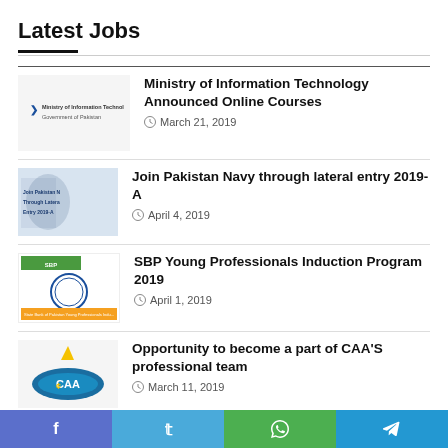Latest Jobs
Ministry of Information Technology Announced Online Courses — March 21, 2019
Join Pakistan Navy through lateral entry 2019-A — April 4, 2019
SBP Young Professionals Induction Program 2019 — April 1, 2019
Opportunity to become a part of CAA'S professional team